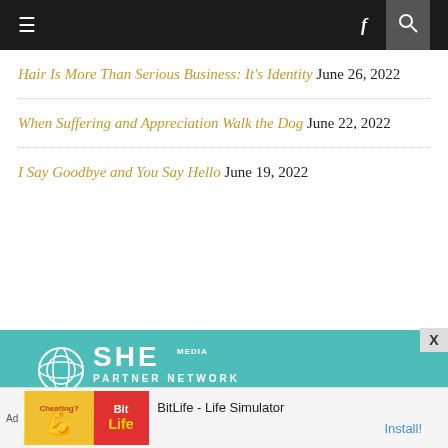≡  f  🔍
Hair Is More Than Serious Business: It's Identity June 26, 2022
When Suffering and Appreciation Walk the Dog June 22, 2022
I Say Goodbye and You Say Hello June 19, 2022
[Figure (logo): SHE Media Partner Network advertisement banner with teal background, circular logo, and 'BECOME A MEMBER' button]
[Figure (photo): Bottom ad banner: BitLife - Life Simulator app advertisement with yellow/red icons and Install! button]